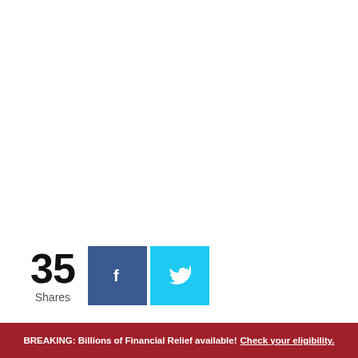35 Shares
[Figure (infographic): Social share buttons: Facebook and Twitter icons with share count of 35]
BREAKING: Billions of Financial Relief available! Check your eligibility.